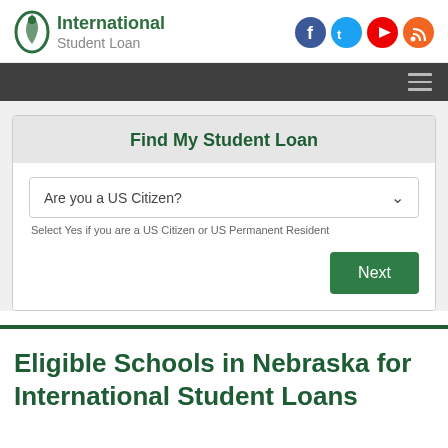International Student Loan
[Figure (screenshot): Web form widget: Find My Student Loan — dropdown 'Are you a US Citizen?' with Next button]
Eligible Schools in Nebraska for International Student Loans